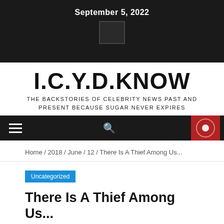September 5, 2022
I.C.Y.D.KNOW
THE BACKSTORIES OF CELEBRITY NEWS PAST AND PRESENT BECAUSE SUGAR NEVER EXPIRES
Home / 2018 / June / 12 / There Is A Thief Among Us...
Uncategorized
There Is A Thief Among Us...